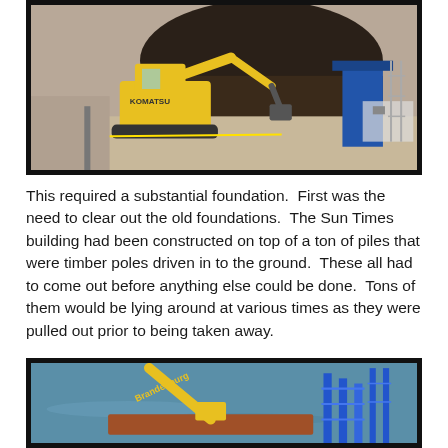[Figure (photo): Aerial/overhead view of a construction site with a yellow excavator digging through dark soil/rubble. Construction equipment and materials visible in the background.]
This required a substantial foundation.  First was the need to clear out the old foundations.  The Sun Times building had been constructed on top of a ton of piles that were timber poles driven in to the ground.  These all had to come out before anything else could be done.  Tons of them would be lying around at various times as they were pulled out prior to being taken away.
[Figure (photo): Construction site near water showing a yellow crane or excavator (branded 'Brandenburg') working near scaffolding and blue steel structures, with water visible in the background.]